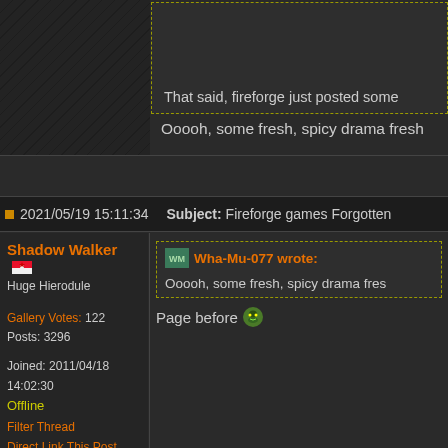That said, fireforge just posted some
Ooooh, some fresh, spicy drama fresh
2021/05/19 15:11:34   Subject: Fireforge games Forgotten
Shadow Walker
Huge Hierodule
Gallery Votes: 122
Posts: 3296
Joined: 2011/04/18 14:02:30
Offline
Filter Thread
Direct Link This Post
Wha-Mu-077 wrote:
Ooooh, some fresh, spicy drama fres
Page before